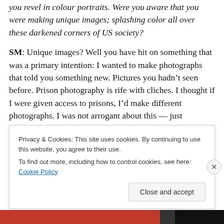you revel in colour portraits. Were you aware that you were making unique images; splashing color all over these darkened corners of US society?
SM: Unique images? Well you have hit on something that was a primary intention: I wanted to make photographs that told you something new. Pictures you hadn't seen before. Prison photography is rife with cliches. I thought if I were given access to prisons, I'd make different photographs. I was not arrogant about this — just determined to make images that had not been seen before
Privacy & Cookies: This site uses cookies. By continuing to use this website, you agree to their use.
To find out more, including how to control cookies, see here: Cookie Policy
Close and accept